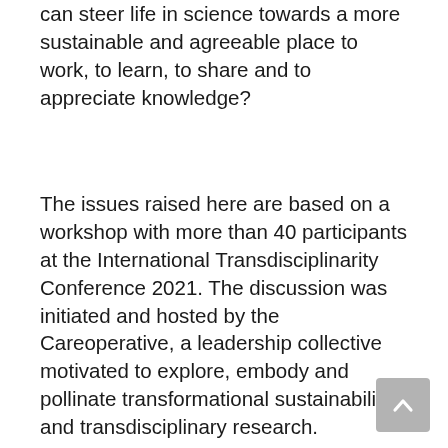can steer life in science towards a more sustainable and agreeable place to work, to learn, to share and to appreciate knowledge?
The issues raised here are based on a workshop with more than 40 participants at the International Transdisciplinarity Conference 2021. The discussion was initiated and hosted by the Careoperative, a leadership collective motivated to explore, embody and pollinate transformational sustainability and transdisciplinary research.
Careoperative's discussion springboard
As a starting point for the discussion, Careoperative members shared ideas on how